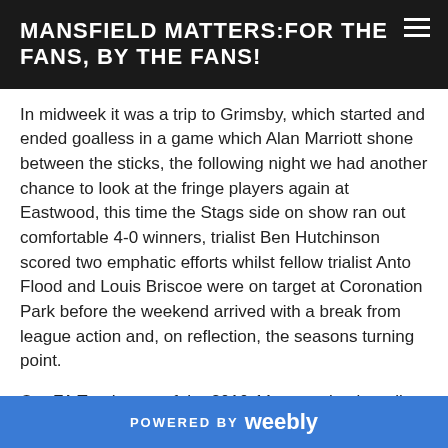MANSFIELD MATTERS:FOR THE FANS, BY THE FANS!
In midweek it was a trip to Grimsby, which started and ended goalless in a game which Alan Marriott shone between the sticks, the following night we had another chance to look at the fringe players again at Eastwood, this time the Stags side on show ran out comfortable 4-0 winners, trialist Ben Hutchinson scored two emphatic efforts whilst fellow trialist Anto Flood and Louis Briscoe were on target at Coronation Park before the weekend arrived with a break from league action and, on reflection, the seasons turning point.
Our FA Trophy run of the 2010-11 campaign is well document and despite defeat in the final, we will forever hold it in high regard. Despite being on a bit of a barren run in the league with one win in eight games, the belief that our squad was stronger
POWERED BY weebly